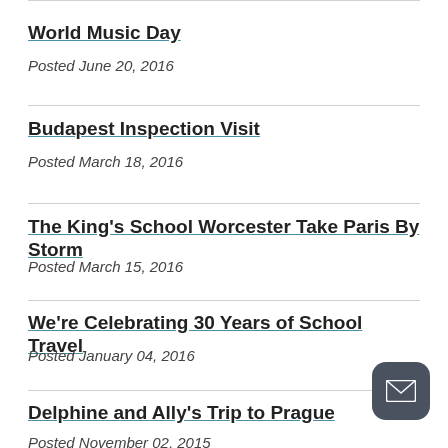World Music Day
Posted June 20, 2016
Budapest Inspection Visit
Posted March 18, 2016
The King's School Worcester Take Paris By Storm
Posted March 15, 2016
We're Celebrating 30 Years of School Travel
Posted January 04, 2016
Delphine and Ally's Trip to Prague
Posted November 02, 2015